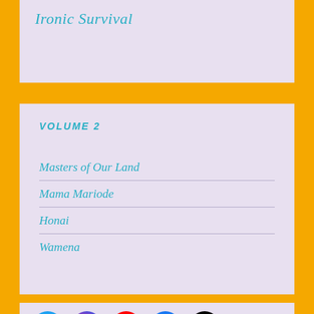Ironic Survival
VOLUME 2
Masters of Our Land
Mama Mariode
Honai
Wamena
[Figure (logo): Social media icons: Twitter, Instagram, YouTube, Facebook, TikTok]